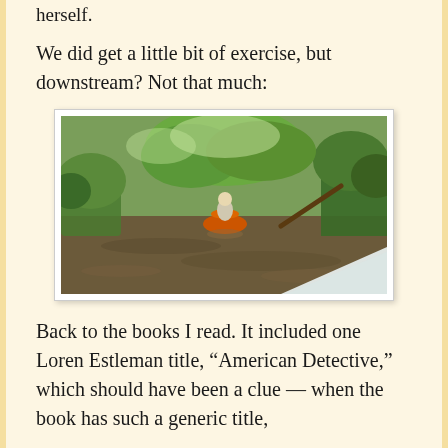herself.
We did get a little bit of exercise, but downstream? Not that much:
[Figure (photo): A person in an orange kayak paddling down a narrow tree-lined river, viewed from behind from another boat whose white bow is visible in the lower right corner.]
Back to the books I read. It included one Loren Estleman title, “American Detective,” which should have been a clue — when the book has such a generic title,